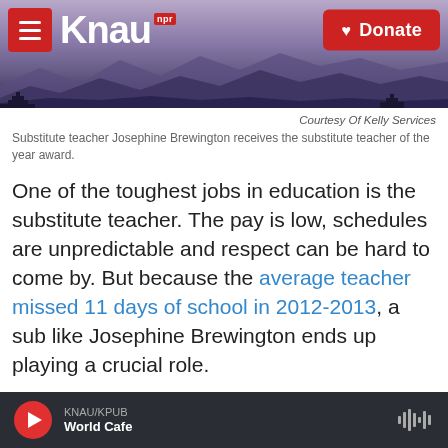[Figure (screenshot): KNAU NPR radio station website header with logo, hamburger menu, donate button, and mountain landscape banner]
Courtesy Of Kelly Services
Substitute teacher Josephine Brewington receives the substitute teacher of the year award.
One of the toughest jobs in education is the substitute teacher. The pay is low, schedules are unpredictable and respect can be hard to come by. But because the average teacher missed 11 days of school in 2012-2013, a sub like Josephine Brewington ends up playing a crucial role.
And this week — Brewington was rewarded for her efforts — winning the 2015 Substitute Teacher of
KNAU/KPUB World Cafe